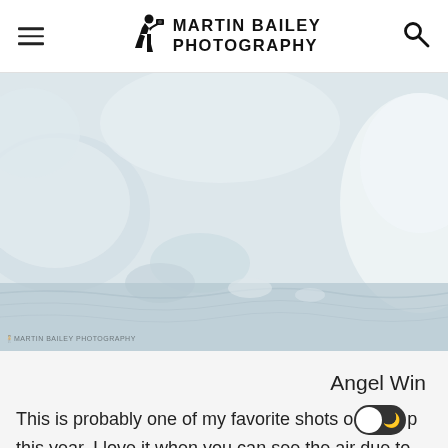Martin Bailey Photography
[Figure (photo): Black and white close-up photo of icy or snowy landscape with blurred rounded snow/ice shapes and water, watermark 'MARTIN BAILEY PHOTOGRAPHY' at bottom left]
Angel Win
This is probably one of my favorite shots o[toggle]p this year. I love it when you can see the air due to